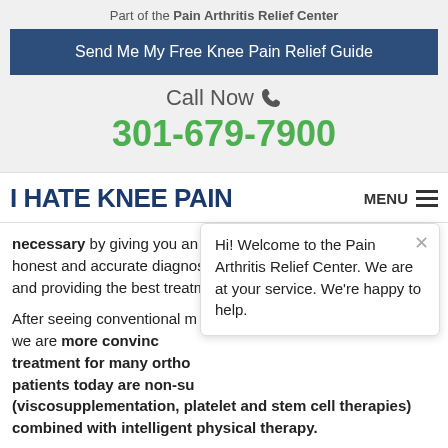Part of the Pain Arthritis Relief Center
Send Me My Free Knee Pain Relief Guide
Call Now
301-679-7900
I HATE KNEE PAIN
necessary by giving you an honest and accurate diagnosis, and providing the best treatme
After seeing conventional m again, we are more convince treatment for many ortho patients today are non-su (viscosupplementation, platelet and stem cell therapies) combined with intelligent physical therapy.
Hi! Welcome to the Pain Arthritis Relief Center. We are at your service. We're happy to help.
So if your knees are causing you pain and limiting your lifestyle...